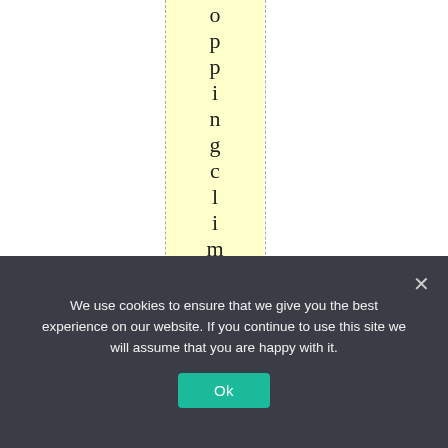[Figure (other): A webpage screenshot showing a yellow highlighted vertical column with text reading 'oppingclimatechange' written vertically, flanked by dashed vertical lines on a white background. A cookie consent banner overlays the bottom portion.]
We use cookies to ensure that we give you the best experience on our website. If you continue to use this site we will assume that you are happy with it.
Ok